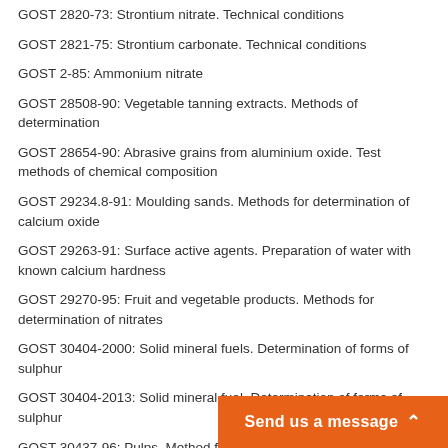GOST 2820-73: Strontium nitrate. Technical conditions
GOST 2821-75: Strontium carbonate. Technical conditions
GOST 2-85: Ammonium nitrate
GOST 28508-90: Vegetable tanning extracts. Methods of determination
GOST 28654-90: Abrasive grains from aluminium oxide. Test methods of chemical composition
GOST 29234.8-91: Moulding sands. Methods for determination of calcium oxide
GOST 29263-91: Surface active agents. Preparation of water with known calcium hardness
GOST 29270-95: Fruit and vegetable products. Methods for determination of nitrates
GOST 30404-2000: Solid mineral fuels. Determination of forms of sulphur
GOST 30404-2013: Solid mineral fuel. Determination of forms of sulphur
GOST 30437-96: Pulps. Method for determination of brightness
GOST 30561-2013: Sugar beet molasses. Specifications
GOST 30627.2-98: Infant milk products. Methods for determination of mass part of vitamin C (Acidum ascorbinium)
GOST 31382-2009: Copper. Methods of analysis
GOST 31477-2012: Meat and meat products. Immune method of determination of animal (pork, beef, mutton) proteins
GOST 31628-2012: Food-stuffs and food raw material. Anodic stripping voltammetric method of arsenic mass determination